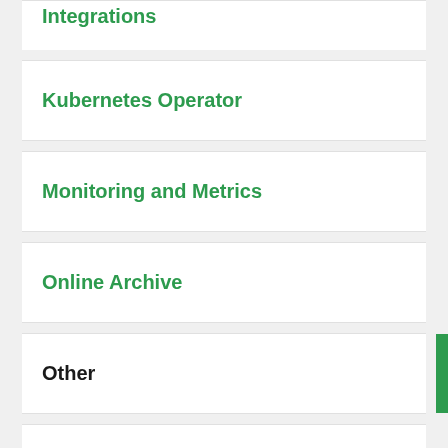Integrations
Kubernetes Operator
Monitoring and Metrics
Online Archive
Other
Performance Advisor
Search